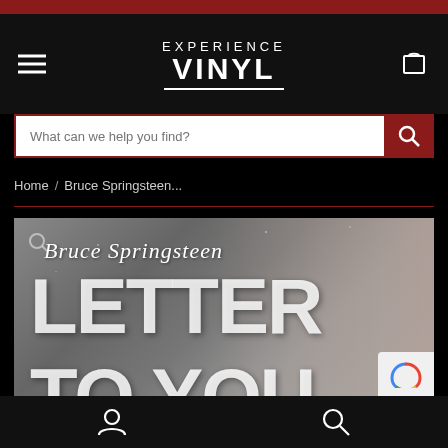Experience Vinyl
What can we help you find?
Home / Bruce Springsteen...
[Figure (photo): Bruce Springsteen 'Letter to You' album cover showing artist name in script font and large bold text 'LETTER TO YOU' with a black and white snowy background and man's face on right side]